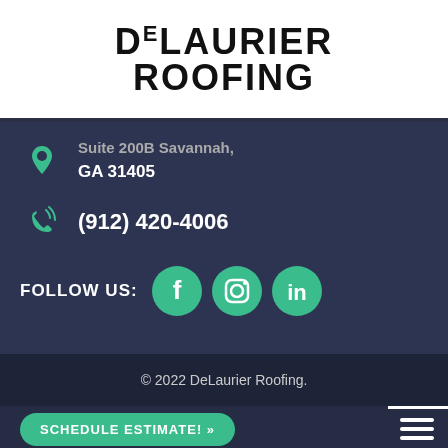[Figure (logo): DeLaurier Roofing logo in black bold uppercase text on white background]
Suite 200B Savannah, GA 31405
(912) 420-4006
FOLLOW US:
[Figure (illustration): Social media icons: Facebook, Instagram, LinkedIn on green circles]
© 2022 DeLaurier Roofing.
SCHEDULE ESTIMATE! »